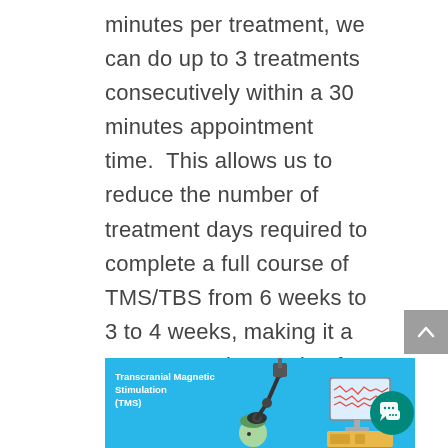minutes per treatment, we can do up to 3 treatments consecutively within a 30 minutes appointment time.  This allows us to reduce the number of treatment days required to complete a full course of TMS/TBS from 6 weeks to 3 to 4 weeks, making it a very convenient option for busy, working professionals.  Insurance companies will not cover treatments associated with this accelerated, non-FDA-approved protocol.
[Figure (illustration): Illustration of Transcranial Magnetic Stimulation (TMS) showing a robotic arm applying a magnetic coil to a patient's head, with a computer monitor displaying brain wave readouts, on a blue background. A teal chat bubble icon appears in the lower right.]